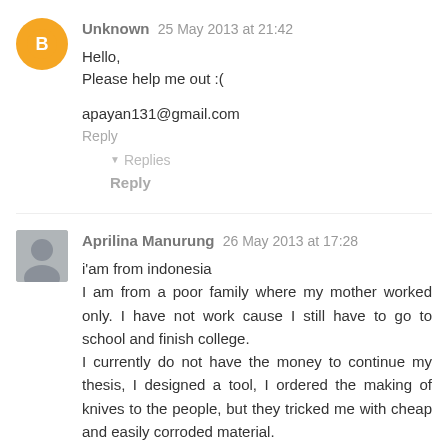[Figure (other): Orange Blogger avatar icon with white B letter]
Unknown 25 May 2013 at 21:42
Hello,
Please help me out :(

apayan131@gmail.com
Reply
Replies
Reply
[Figure (photo): Profile photo of Aprilina Manurung]
Aprilina Manurung 26 May 2013 at 17:28
i'am from indonesia
I am from a poor family where my mother worked only. I have not work cause I still have to go to school and finish college.
I currently do not have the money to continue my thesis, I designed a tool, I ordered the making of knives to the people, but they tricked me with cheap and easily corroded material.